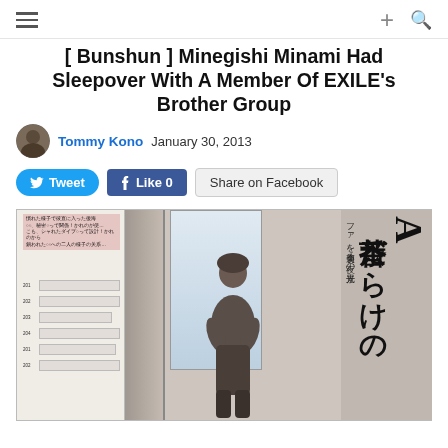≡  +  🔍
[ Bunshun ] Minegishi Minami Had Sleepover With A Member Of EXILE's Brother Group
Tommy Kono  January 30, 2013
[Figure (photo): Screenshot of a blog/news article page showing a Japanese magazine scan. The scan shows what appears to be a paparazzi photo with Japanese text reading 茶番だらけのA and other characters. Left side shows a list with numbered items and pink highlighted text box. Center shows a silhouette of a figure. Right side has large vertical Japanese text.]